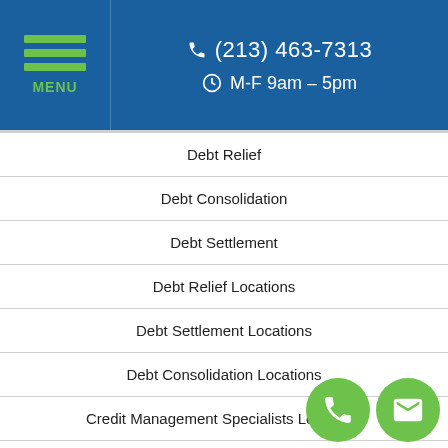(213) 463-7313  M-F 9am – 5pm
Debt Relief
Debt Consolidation
Debt Settlement
Debt Relief Locations
Debt Settlement Locations
Debt Consolidation Locations
Credit Management Specialists Locations
About Us
Reviews & Testimonials
Privacy Policy